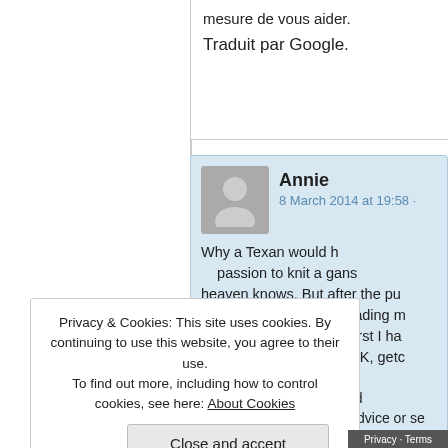mesure de vous aider.
Traduit par Google.
Annie
8 March 2014 at 19:58 ·
Why a Texan would h... passion to knit a gans... heaven knows. But after the pu... number of books and reading m... reviews, this site is the first I ha... encountered that said, OK, getc... and git goin', gal.
Thank you, thank you, now for i...
Privacy & Cookies: This site uses cookies. By continuing to use this website, you agree to their use.
To find out more, including how to control cookies, see here: About Cookies
Close and accept
Best of luck, and ... assistance for advice or se...
Privacy · Terms